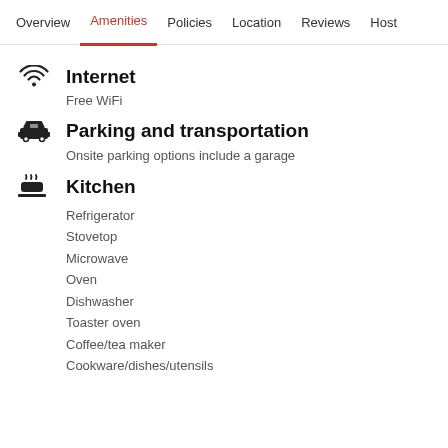Overview | Amenities | Policies | Location | Reviews | Host
Internet
Free WiFi
Parking and transportation
Onsite parking options include a garage
Kitchen
Refrigerator
Stovetop
Microwave
Oven
Dishwasher
Toaster oven
Coffee/tea maker
Cookware/dishes/utensils